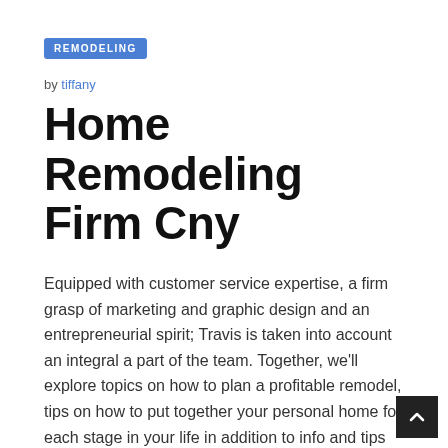REMODELING
by tiffany
Home Remodeling Firm Cny
Equipped with customer service expertise, a firm grasp of marketing and graphic design and an entrepreneurial spirit; Travis is taken into account an integral a part of the team. Together, we'll explore topics on how to plan a profitable remodel, tips on how to put together your personal home for each stage in your life in addition to info and tips about kitchen and loo remodeling. Adam could be very skilled and got here by almost every single day to examine progress and high quality of work. He was always available if he had a question.